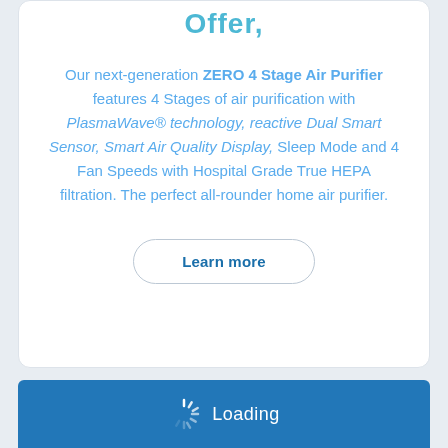Offer,
Our next-generation ZERO 4 Stage Air Purifier features 4 Stages of air purification with PlasmaWave® technology, reactive Dual Smart Sensor, Smart Air Quality Display, Sleep Mode and 4 Fan Speeds with Hospital Grade True HEPA filtration. The perfect all-rounder home air purifier.
Learn more
Loading